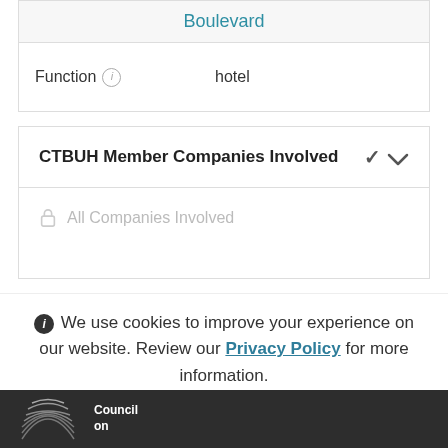| Boulevard |
| Function (i) | hotel |
CTBUH Member Companies Involved
All Companies Involved
We use cookies to improve your experience on our website. Review our Privacy Policy for more information.
✓ Allow cookies
[Figure (logo): CTBUH Council on logo in footer]